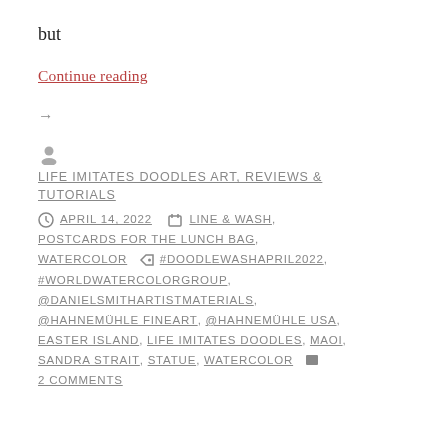but
Continue reading →
👤
LIFE IMITATES DOODLES ART, REVIEWS & TUTORIALS
🕐 APRIL 14, 2022  📁 LINE & WASH, POSTCARDS FOR THE LUNCH BAG, WATERCOLOR  🏷 #DOODLEWASHAPRIL2022, #WORLDWATERCOLORGROUP, @DANIELSMITHARTISTMATERIALS, @HAHNEMÜHLE FINEART, @HAHNEMÜHLE USA, EASTER ISLAND, LIFE IMITATES DOODLES, MAOI, SANDRA STRAIT, STATUE, WATERCOLOR  💬 2 COMMENTS